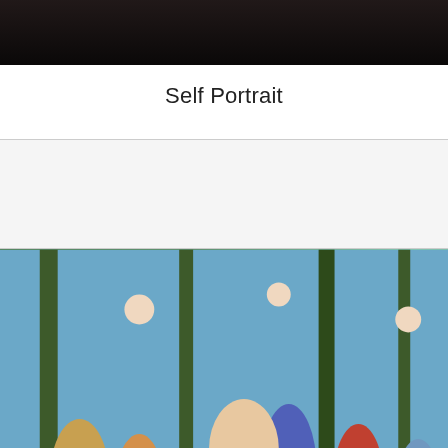[Figure (photo): Self portrait painting, partially visible at top, dark tones]
Self Portrait
[Figure (photo): Parnassus painting by Nicolas Poussin, showing classical mythological scene with many figures, cherubs, trees, and dramatic composition]
Parnassus
[Figure (photo): Another dark painting, partially visible at bottom of page]